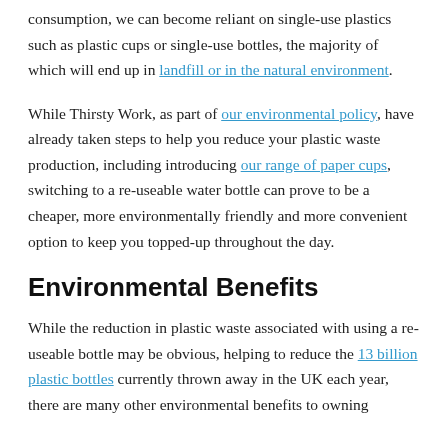consumption, we can become reliant on single-use plastics such as plastic cups or single-use bottles, the majority of which will end up in landfill or in the natural environment.
While Thirsty Work, as part of our environmental policy, have already taken steps to help you reduce your plastic waste production, including introducing our range of paper cups, switching to a re-useable water bottle can prove to be a cheaper, more environmentally friendly and more convenient option to keep you topped-up throughout the day.
Environmental Benefits
While the reduction in plastic waste associated with using a re-useable bottle may be obvious, helping to reduce the 13 billion plastic bottles currently thrown away in the UK each year, there are many other environmental benefits to owning